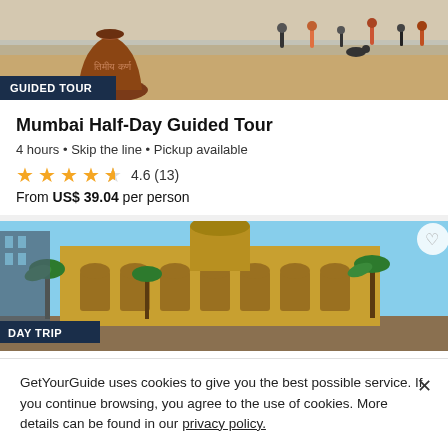[Figure (photo): Beach scene with a large clay pot in foreground, people walking on sandy beach in background, Hindi text on the pot]
GUIDED TOUR
Mumbai Half-Day Guided Tour
4 hours • Skip the line • Pickup available
★★★★½ 4.6 (13)
From US$ 39.04 per person
[Figure (photo): Mumbai Chhatrapati Shivaji Maharaj Terminus (CST) building with palm trees and blue sky, ornate Victorian Gothic architecture]
DAY TRIP
Mumbai: Full-Day Private Sightseeing Tour
8 hours • Skip the line • Pickup available
GetYourGuide uses cookies to give you the best possible service. If you continue browsing, you agree to the use of cookies. More details can be found in our privacy policy.